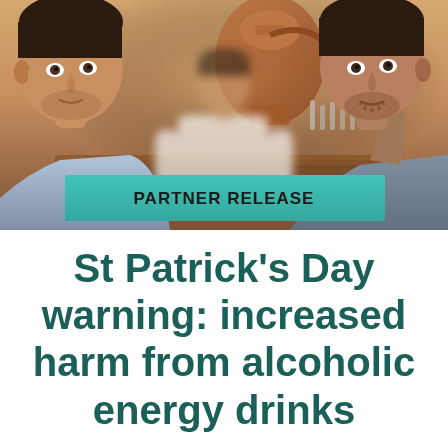[Figure (photo): Photo of two men at a bar, one raising his hand to order a drink, with a barman in the background. A teal 'PARTNER RELEASE' banner overlays the bottom of the image.]
St Patrick's Day warning: increased harm from alcoholic energy drinks